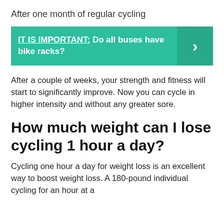After one month of regular cycling
[Figure (infographic): Teal callout box with bold white text: 'IT IS IMPORTANT: Do all buses have bike racks?' and a darker teal arrow panel on the right.]
After a couple of weeks, your strength and fitness will start to significantly improve. Now you can cycle in higher intensity and without any greater sore.
How much weight can I lose cycling 1 hour a day?
Cycling one hour a day for weight loss is an excellent way to boost weight loss. A 180-pound individual cycling for an hour at a